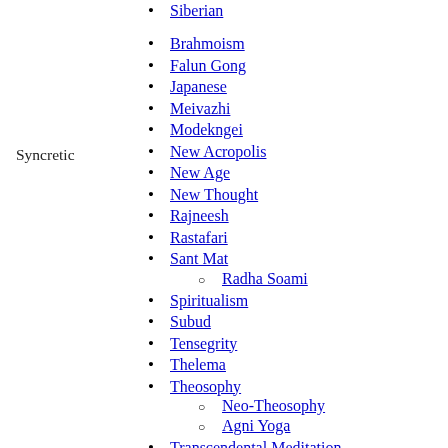Papuan
Siberian
Brahmoism
Falun Gong
Japanese
Meivazhi
Modekngei
New Acropolis
New Age
New Thought
Rajneesh
Rastafari
Sant Mat
Radha Soami
Syncretic
Spiritualism
Subud
Tensegrity
Thelema
Theosophy
Neo-Theosophy
Agni Yoga
Transcendental Meditation
Unitarian Universalism
White Brotherhood